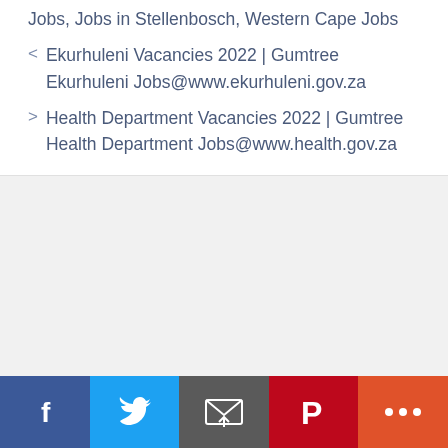Jobs, Jobs in Stellenbosch, Western Cape Jobs
< Ekurhuleni Vacancies 2022 | Gumtree Ekurhuleni Jobs@www.ekurhuleni.gov.za
> Health Department Vacancies 2022 | Gumtree Health Department Jobs@www.health.gov.za